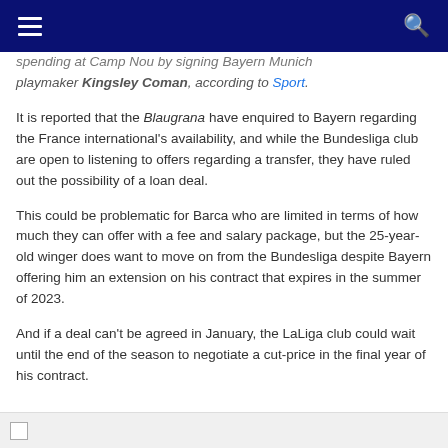Navigation bar with hamburger menu and search icon
spending at Camp Nou by signing Bayern Munich playmaker Kingsley Coman, according to Sport.
It is reported that the Blaugrana have enquired to Bayern regarding the France international's availability, and while the Bundesliga club are open to listening to offers regarding a transfer, they have ruled out the possibility of a loan deal.
This could be problematic for Barca who are limited in terms of how much they can offer with a fee and salary package, but the 25-year-old winger does want to move on from the Bundesliga despite Bayern offering him an extension on his contract that expires in the summer of 2023.
And if a deal can't be agreed in January, the LaLiga club could wait until the end of the season to negotiate a cut-price in the final year of his contract.